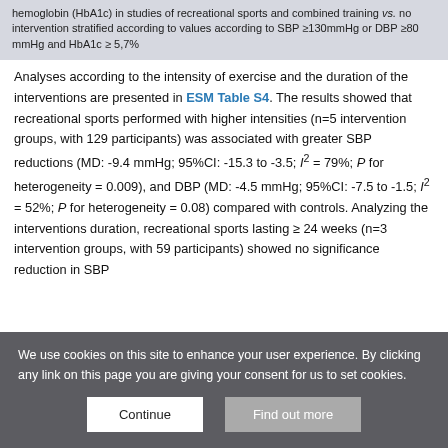hemoglobin (HbA1c) in studies of recreational sports and combined training vs. no intervention stratified according to values according to SBP ≥130mmHg or DBP ≥80 mmHg and HbA1c ≥ 5,7%
Analyses according to the intensity of exercise and the duration of the interventions are presented in ESM Table S4. The results showed that recreational sports performed with higher intensities (n=5 intervention groups, with 129 participants) was associated with greater SBP reductions (MD: -9.4 mmHg; 95%CI: -15.3 to -3.5; I² = 79%; P for heterogeneity = 0.009), and DBP (MD: -4.5 mmHg; 95%CI: -7.5 to -1.5; I² = 52%; P for heterogeneity = 0.08) compared with controls. Analyzing the interventions duration, recreational sports lasting ≥ 24 weeks (n=3 intervention groups, with 59 participants) showed no significance reduction in SBP
We use cookies on this site to enhance your user experience. By clicking any link on this page you are giving your consent for us to set cookies.